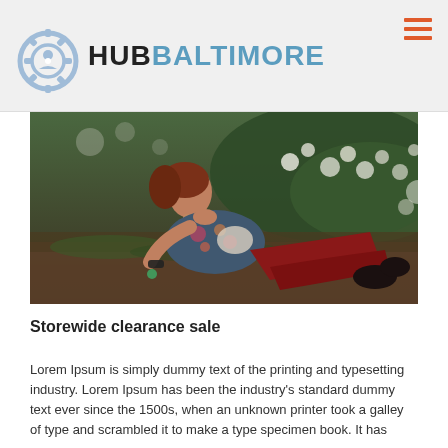HUB BALTIMORE
[Figure (photo): A young woman with red hair wearing a floral blouse and red pants, reclining on grass with white flowering bushes in the background.]
Storewide clearance sale
Lorem Ipsum is simply dummy text of the printing and typesetting industry. Lorem Ipsum has been the industry's standard dummy text ever since the 1500s, when an unknown printer took a galley of type and scrambled it to make a type specimen book. It has